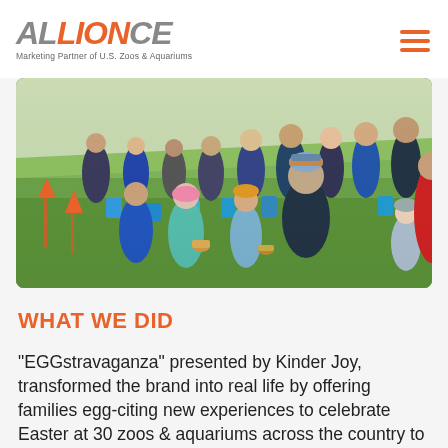ALLIONCE - Marketing Partner of U.S. Zoos & Aquariums
[Figure (photo): Outdoor photo of families and children gathered on grass at an Easter egg hunt event, many carrying blue bags and Easter baskets, sunny day.]
WHAT WE DID
“EGGstravaganza” presented by Kinder Joy, transformed the brand into real life by offering families egg-citing new experiences to celebrate Easter at 30 zoos & aquariums across the country to #findtheKinderJOY.